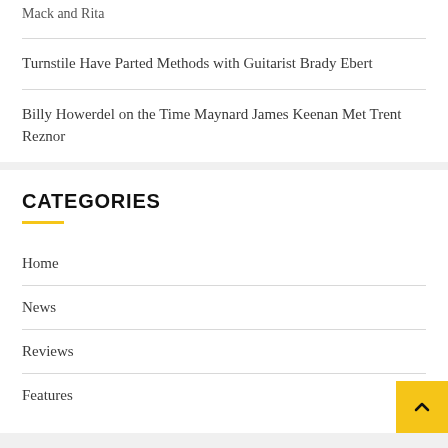Mack and Rita
Turnstile Have Parted Methods with Guitarist Brady Ebert
Billy Howerdel on the Time Maynard James Keenan Met Trent Reznor
CATEGORIES
Home
News
Reviews
Features